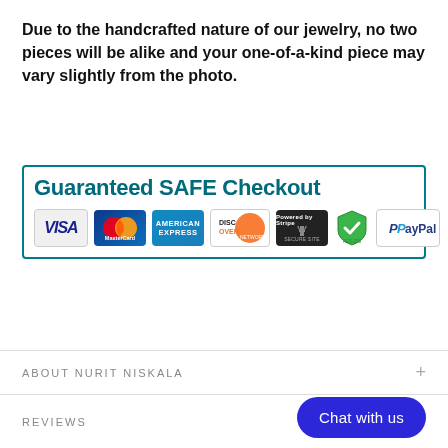Due to the handcrafted nature of our jewelry, no two pieces will be alike and your one-of-a-kind piece may vary slightly from the photo.
[Figure (infographic): Guaranteed SAFE Checkout banner with payment method icons: Visa, MasterCard, American Express, Discover Network, Stripe secure, security badge, PayPal]
ABOUT NURIT NISKALA +
REVIEWS +
Chat with us